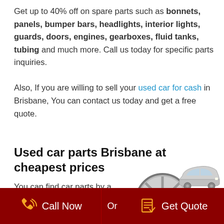Get up to 40% off on spare parts such as bonnets, panels, bumper bars, headlights, interior lights, guards, doors, engines, gearboxes, fluid tanks, tubing and much more. Call us today for specific parts inquiries.
Also, If you are willing to sell your used car for cash in Brisbane, You can contact us today and get a free quote.
Used car parts Brisbane at cheapest prices
You can find car parts by a model including different
[Figure (photo): Car parts image showing alloy wheels, brake disc rotor, and a silver car in the background]
Call Now   Or   Get Quote